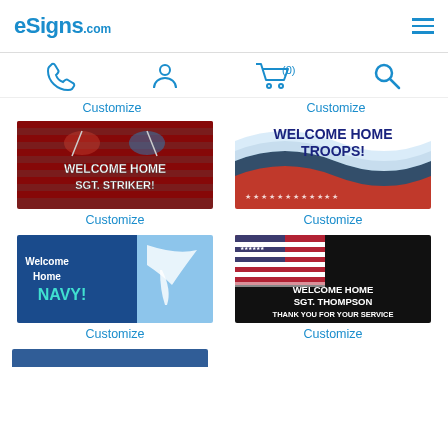eSigns.com
[Figure (screenshot): Navigation icons: phone, person/account, shopping cart (0), search]
Customize   Customize
[Figure (photo): Welcome Home SGT. STRIKER! banner with crossed American flags]
[Figure (photo): WELCOME HOME TROOPS! banner with red, white and blue wave design]
Customize
Customize
[Figure (photo): Welcome Home NAVY! banner with eagle and ocean design]
[Figure (photo): WELCOME HOME SGT. THOMPSON THANK YOU FOR YOUR SERVICE banner with American flag]
Customize
Customize